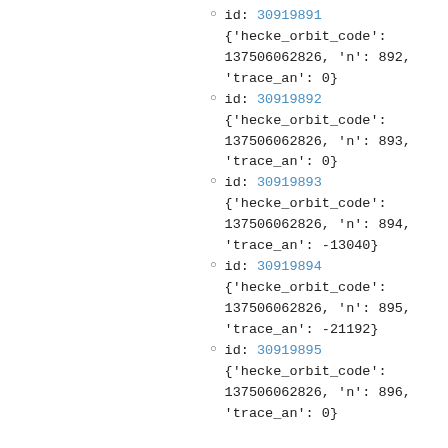id: 30919891 {'hecke_orbit_code': 137506062826, 'n': 892, 'trace_an': 0}
id: 30919892 {'hecke_orbit_code': 137506062826, 'n': 893, 'trace_an': 0}
id: 30919893 {'hecke_orbit_code': 137506062826, 'n': 894, 'trace_an': -13040}
id: 30919894 {'hecke_orbit_code': 137506062826, 'n': 895, 'trace_an': -21192}
id: 30919895 {'hecke_orbit_code': 137506062826, 'n': 896, 'trace_an': 0}